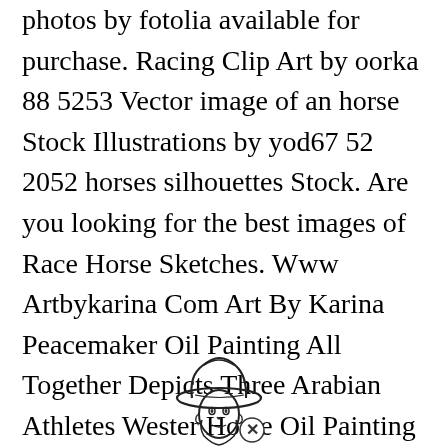photos by fotolia available for purchase. Racing Clip Art by oorka 88 5253 Vector image of an horse Stock Illustrations by yod67 52 2052 horses silhouettes Stock. Are you looking for the best images of Race Horse Sketches. Www Artbykarina Com Art By Karina Peacemaker Oil Painting All Together Depicts Three Arabian Athletes Wester Horse Oil Painting Horse Painting Horse Drawings.
[Figure (illustration): A sketch/line drawing of a cowboy head with a hat, with a small circular close/cancel button icon overlaid at the bottom right of the image.]